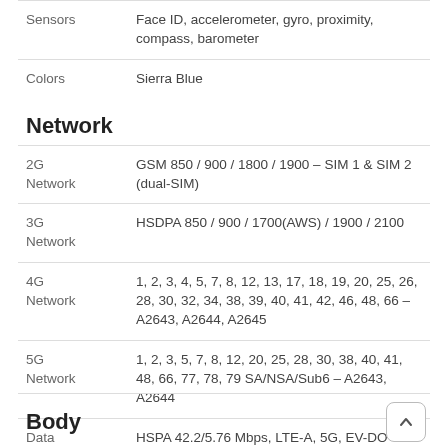| Label | Value |
| --- | --- |
| Sensors | Face ID, accelerometer, gyro, proximity, compass, barometer |
| Colors | Sierra Blue |
Network
| Label | Value |
| --- | --- |
| 2G Network | GSM 850 / 900 / 1800 / 1900 – SIM 1 & SIM 2 (dual-SIM) |
| 3G Network | HSDPA 850 / 900 / 1700(AWS) / 1900 / 2100 |
| 4G Network | 1, 2, 3, 4, 5, 7, 8, 12, 13, 17, 18, 19, 20, 25, 26, 28, 30, 32, 34, 38, 39, 40, 41, 42, 46, 48, 66 – A2643, A2644, A2645 |
| 5G Network | 1, 2, 3, 5, 7, 8, 12, 20, 25, 28, 30, 38, 40, 41, 48, 66, 77, 78, 79 SA/NSA/Sub6 – A2643, A2644 |
| Data Speed | HSPA 42.2/5.76 Mbps, LTE-A, 5G, EV-DO Rev.A 3.1 Mbps |
Body